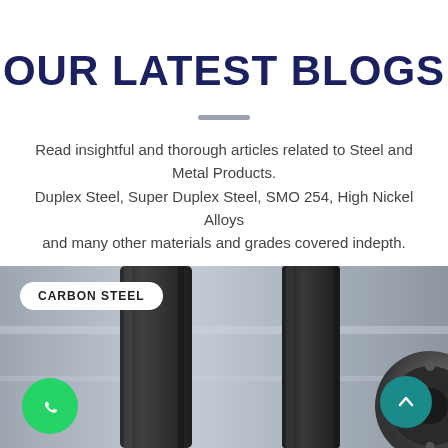OUR LATEST BLOGS
Read insightful and thorough articles related to Steel and Metal Products.
Duplex Steel, Super Duplex Steel, SMO 254, High Nickel Alloys and many other materials and grades covered indepth.
[Figure (photo): Photo of dark metal pipes and a steel flange against a metallic background, with a 'CARBON STEEL' label badge, a green WhatsApp icon button at bottom left, and a teal scroll-up button at bottom right.]